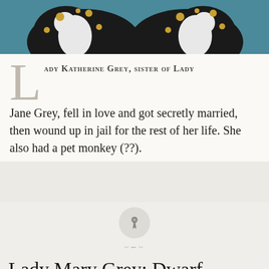[Figure (photo): Photo of two black and white dogs (likely Bernese Mountain Dogs) with golden medal/coin decorations on teal/blue background]
LADY KATHERINE GREY, SISTER OF LADY Jane Grey, fell in love and got secretly married, then wound up in jail for the rest of her life. She also had a pet monkey (??).
[Figure (other): Pinterest pin button - circular grey button with pin/thumbtack icon]
Lady Mary Grey: Dwarf, Youngest Sister, Star-Crossed Lover, Tudor